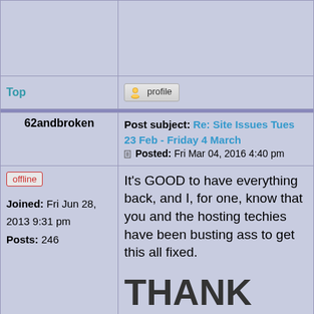Top
[Figure (illustration): Profile button with user icon]
Post subject: Re: Site Issues Tues 23 Feb - Friday 4 March
Posted: Fri Mar 04, 2016 4:40 pm
62andbroken
offline
Joined: Fri Jun 28, 2013 9:31 pm
Posts: 246
It's GOOD to have everything back, and I, for one, know that you and the hosting techies have been busting ass to get this all fixed.

THANK YOU ALL!!!!!!!